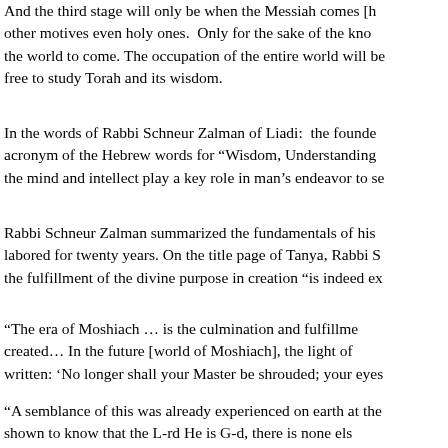And the third stage will only be when the Messiah comes [h] other motives even holy ones.  Only for the sake of the kno the world to come. The occupation of the entire world will be free to study Torah and its wisdom.
In the words of Rabbi Schneur Zalman of Liadi:  the founde acronym of the Hebrew words for “Wisdom, Understanding the mind and intellect play a key role in man’s endeavor to se
Rabbi Schneur Zalman summarized the fundamentals of his labored for twenty years. On the title page of Tanya, Rabbi S the fulfillment of the divine purpose in creation “is indeed ex
“The era of Moshiach … is the culmination and fulfillme created… In the future [world of Moshiach], the light of written: ‘No longer shall your Master be shrouded; your eyes
“A semblance of this was already experienced on earth at the shown to know that the L-rd He is G-d, there is none els